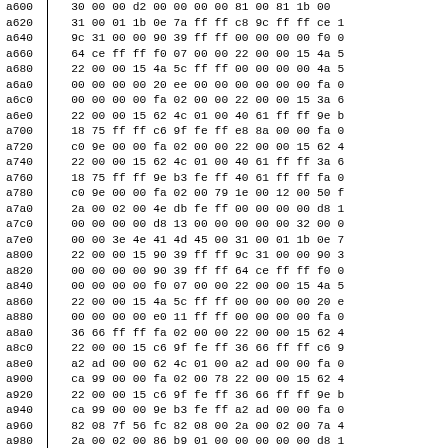| addr | b0 | b1 | b2 | b3 | b4 | b5 | b6 | b7 | b8 | b9 | ba | bb | bc | bd |
| --- | --- | --- | --- | --- | --- | --- | --- | --- | --- | --- | --- | --- | --- | --- |
| a600 | 30 | 00 | 00 | d2 | 00 | 00 | 00 | 00 | 81 | 00 | 81 | 1b | 00 | ... |
| a620 | 31 | 00 | 01 | 1b | 0e | 7a | ff | ff | c8 | 9c | ff | ff | ce | 1... |
| a640 | 9c | 31 | 00 | 00 | 90 | 39 | ff | ff | 00 | 00 | 00 | 00 | f0 | 0... |
| a660 | 64 | ce | ff | ff | f0 | 07 | 00 | 00 | 22 | 00 | 00 | 15 | 4a | 5... |
| a680 | 22 | 00 | 00 | 15 | 4a | 5c | ff | ff | 00 | 00 | 00 | 00 | 4a | 5... |
| a6a0 | 00 | 00 | 00 | 00 | 20 | ee | 00 | 00 | 00 | 00 | 00 | 00 | fa | 0... |
| a6c0 | 00 | 00 | 00 | 00 | fa | 02 | 00 | 00 | 22 | 00 | 00 | 15 | 3a | 6... |
| a6e0 | 22 | 00 | 00 | 15 | 62 | 4c | 01 | 00 | 40 | 61 | ff | ff | 9e | b... |
| a700 | 18 | 75 | ff | ff | c6 | 9f | fe | ff | e8 | 8a | 00 | 00 | fa | 0... |
| a720 | c0 | 9e | 00 | 00 | fa | 02 | 00 | 00 | 22 | 00 | 00 | 15 | 62 | 4... |
| a740 | 22 | 00 | 00 | 15 | 62 | 4c | 01 | 00 | 40 | 61 | ff | ff | 3a | 6... |
| a760 | 18 | 75 | ff | ff | 9e | b3 | fe | ff | 40 | 61 | ff | ff | fa | 0... |
| a780 | c0 | 9e | 00 | 00 | fa | 02 | 00 | 79 | 1e | 00 | 12 | 00 | 50 | f... |
| a7a0 | 2a | 00 | 02 | 00 | 4e | db | fe | ff | 00 | 00 | 00 | 00 | d8 | 1... |
| a7c0 | 00 | 00 | 00 | 00 | d8 | 13 | 00 | 00 | 00 | 00 | 00 | 32 | 00 | 0... |
| a7e0 | 00 | 00 | 3e | 4e | 41 | 4d | 45 | 00 | 31 | 00 | 01 | 1b | 0e | 7... |
| a800 | 22 | 00 | 00 | 15 | 90 | 39 | ff | ff | 9c | 31 | 00 | 00 | 90 | 3... |
| a820 | 00 | 00 | 00 | 00 | 90 | 39 | ff | ff | 64 | ce | ff | ff | f0 | 0... |
| a840 | 00 | 00 | 00 | 00 | f0 | 07 | 00 | 00 | 22 | 00 | 00 | 15 | 4a | 5... |
| a860 | 22 | 00 | 00 | 15 | 4a | 5c | ff | ff | 00 | 00 | 00 | 00 | 20 | e... |
| a880 | 00 | 00 | 00 | 00 | e0 | 11 | ff | ff | 00 | 00 | 00 | 00 | fa | 0... |
| a8a0 | 36 | 66 | ff | ff | fa | 02 | 00 | 00 | 22 | 00 | 00 | 15 | 62 | 4... |
| a8c0 | 22 | 00 | 00 | 15 | c6 | 9f | fe | ff | 36 | 66 | ff | ff | c6 | 9... |
| a8e0 | a2 | ad | 00 | 00 | 62 | 4c | 01 | 00 | a2 | ad | 00 | 00 | fa | 0... |
| a900 | ca | 99 | 00 | 00 | fa | 02 | 00 | 78 | 22 | 00 | 00 | 15 | 62 | 4... |
| a920 | 22 | 00 | 00 | 15 | c6 | 9f | fe | ff | 36 | 66 | ff | ff | 9e | b... |
| a940 | ca | 99 | 00 | 00 | 9e | b3 | fe | ff | a2 | ad | 00 | 00 | fa | 0... |
| a960 | 82 | 08 | 7f | 56 | fc | 82 | 08 | 00 | 2a | 00 | 02 | 00 | 7a | 4... |
| a980 | 2a | 00 | 02 | 00 | 86 | b9 | 01 | 00 | 00 | 00 | 00 | 00 | d8 | 1... |
| a9a0 | 10 | 77 | 00 | 00 | 0e | f5 | 01 | 00 | 10 | 77 | 00 | 00 | fa | 0... |
| a9c0 | c8 | 9c | ff | ff | fa | 02 | 00 | 00 | 22 | 00 | 00 | 15 | 00 | ... |